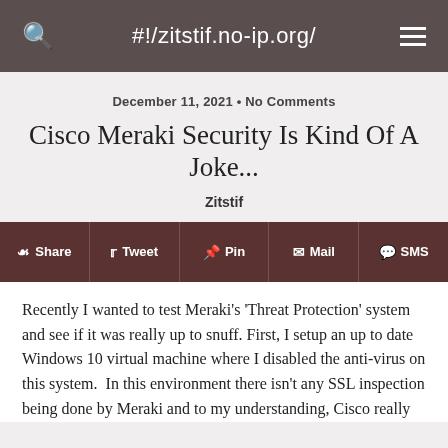#!/zitstif.no-ip.org/
December 11, 2021 • No Comments
Cisco Meraki Security Is Kind Of A Joke...
Zitstif
Share  Tweet  Pin  Mail  SMS
Recently I wanted to test Meraki's 'Threat Protection' system and see if it was really up to snuff. First, I setup an up to date Windows 10 virtual machine where I disabled the anti-virus on this system.  In this environment there isn't any SSL inspection being done by Meraki and to my understanding, Cisco really